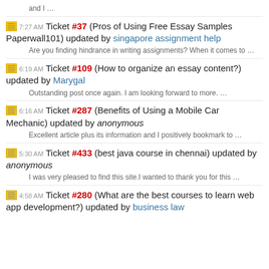and I …
7:27 AM Ticket #37 (Pros of Using Free Essay Samples Paperwall101) updated by singapore assignment help
Are you finding hindrance in writing assignments? When it comes to …
6:19 AM Ticket #109 (How to organize an essay content?) updated by Marygal
Outstanding post once again. I am looking forward to more. …
6:16 AM Ticket #287 (Benefits of Using a Mobile Car Mechanic) updated by anonymous
Excellent article plus its information and I positively bookmark to …
5:30 AM Ticket #433 (best java course in chennai) updated by anonymous
I was very pleased to find this site.I wanted to thank you for this …
4:58 AM Ticket #280 (What are the best courses to learn web app development?) updated by business law